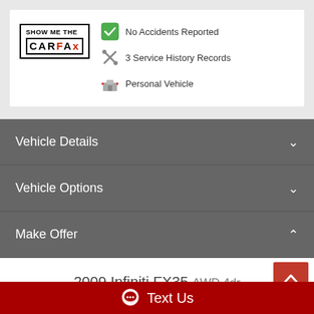[Figure (logo): CARFAX Show Me The CARFAX logo]
No Accidents Reported
3 Service History Records
Personal Vehicle
Vehicle Details
Vehicle Options
Make Offer
2009 Infiniti FX35 AWD 4dr
157,501 miles, AWD, 6 Cyl 3.5L DOHC V6
Text Us